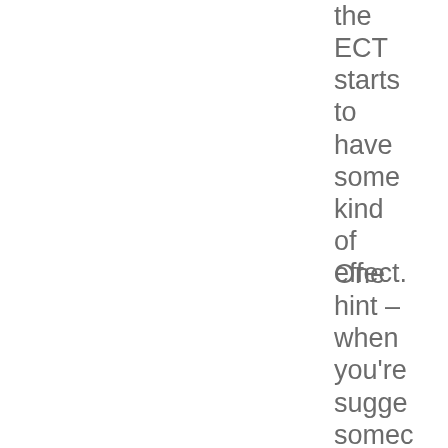the ECT starts to have some kind of effect.
One hint – when you're sugge somec is unedu it